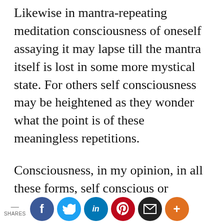Likewise in mantra-repeating meditation consciousness of oneself assaying it may lapse till the mantra itself is lost in some more mystical state. For others self consciousness may be heightened as they wonder what the point is of these meaningless repetitions.
Consciousness, in my opinion, in all these forms, self conscious or otherwise, has the generic feature of being felt or lived through. And that whose existence consists in being thus felt is not out there in the physical world; not in the
SHARES [social share buttons: Facebook, Twitter, LinkedIn, Pinterest, Email, More]